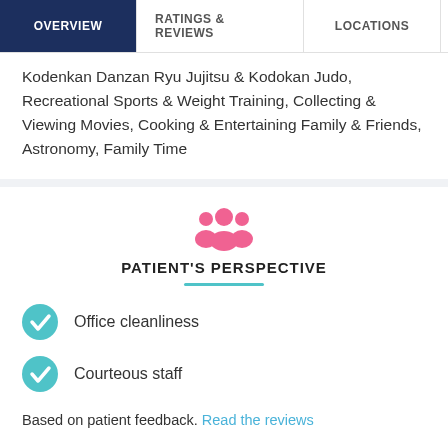OVERVIEW | RATINGS & REVIEWS | LOCATIONS | EX
Kodenkan Danzan Ryu Jujitsu & Kodokan Judo, Recreational Sports & Weight Training, Collecting & Viewing Movies, Cooking & Entertaining Family & Friends, Astronomy, Family Time
PATIENT'S PERSPECTIVE
Office cleanliness
Courteous staff
Based on patient feedback. Read the reviews